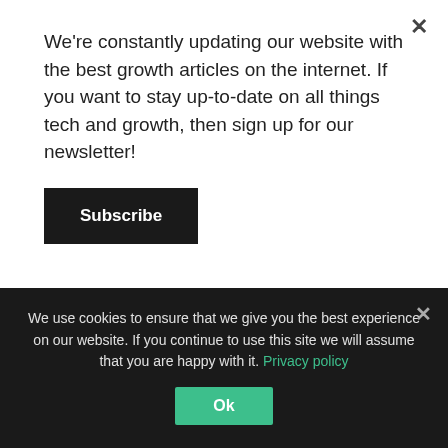We're constantly updating our website with the best growth articles on the internet. If you want to stay up-to-date on all things tech and growth, then sign up for our newsletter!
Subscribe
tattoos. The value is in communicating, "I'm not part of that group, but I am part of this group." simultaneously.
Dan Balcauski
We use cookies to ensure that we give you the best experience on our website. If you continue to use this site we will assume that you are happy with it. Privacy policy
Ok